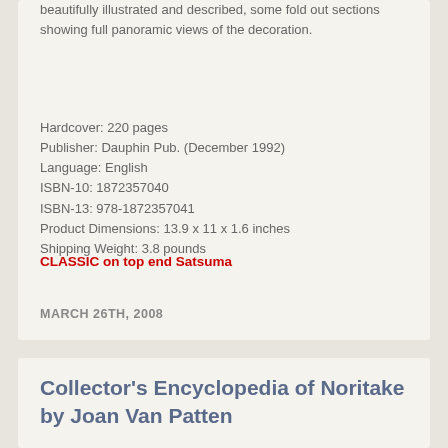beautifully illustrated and described, some fold out sections showing full panoramic views of the decoration.
Hardcover: 220 pages
Publisher: Dauphin Pub. (December 1992)
Language: English
ISBN-10: 1872357040
ISBN-13: 978-1872357041
Product Dimensions: 13.9 x 11 x 1.6 inches
Shipping Weight: 3.8 pounds
CLASSIC on top end Satsuma
MARCH 26TH, 2008
Collector's Encyclopedia of Noritake by Joan Van Patten